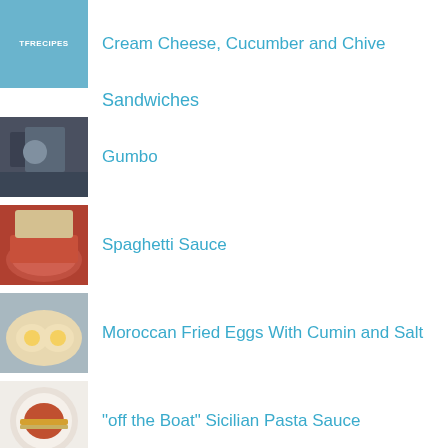Cream Cheese, Cucumber and Chive
Sandwiches
Gumbo
Spaghetti Sauce
Moroccan Fried Eggs With Cumin and Salt
"off the Boat" Sicilian Pasta Sauce
Pork Chops and Rice (Crock Pot)
Capellini with Clams
Salted Caramel Chocolate Chip Cookie Bars
CALIFORNIA CHICKEN
Ham and Apple Brunch Strata
Luscious Cream Cheese Pound Cake